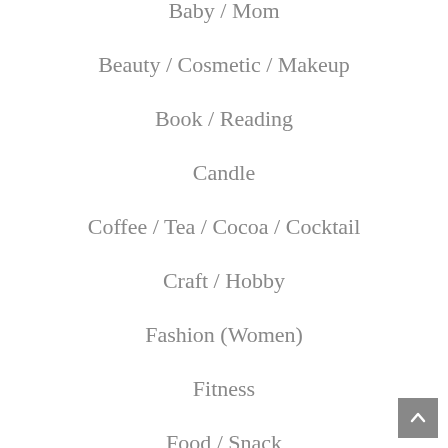Baby / Mom
Beauty / Cosmetic / Makeup
Book / Reading
Candle
Coffee / Tea / Cocoa / Cocktail
Craft / Hobby
Fashion (Women)
Fitness
Food / Snack
Fragrance
Geek / Gamer